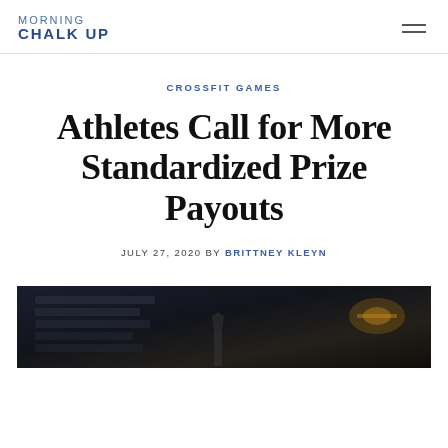MORNING CHALK UP
CROSSFIT GAMES
Athletes Call for More Standardized Prize Payouts
JULY 27, 2020 BY BRITTNEY KLEYN
[Figure (photo): Dark arena/event photo showing a hand raised, dark background with stadium lighting effects]